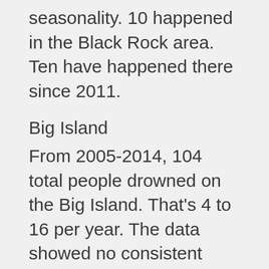seasonality. 10 happened in the Black Rock area. Ten have happened there since 2011.
Big Island
From 2005-2014, 104 total people drowned on the Big Island. That's 4 to 16 per year. The data showed no consistent trend. There were slightly more residents (56%) than non-residents. That data showed no particular activity was associated with drowning. Instead, there was a wide distribution of activities associated with drowning.